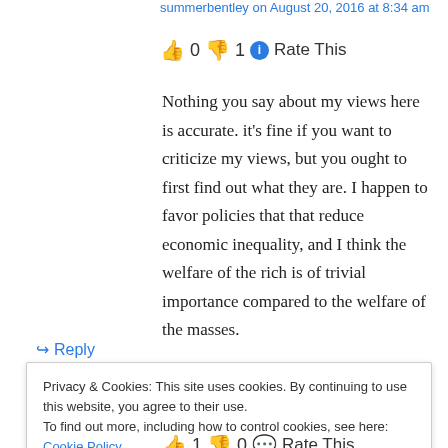summerbentley on August 20, 2016 at 8:34 am
👍 0 👎 1 ℹ Rate This
Nothing you say about my views here is accurate. it's fine if you want to criticize my views, but you ought to first find out what they are. I happen to favor policies that that reduce economic inequality, and I think the welfare of the rich is of trivial importance compared to the welfare of the masses.
↪ Reply
Privacy & Cookies: This site uses cookies. By continuing to use this website, you agree to their use. To find out more, including how to control cookies, see here: Cookie Policy
Close and accept
👍 1 👎 0 💬 Rate This